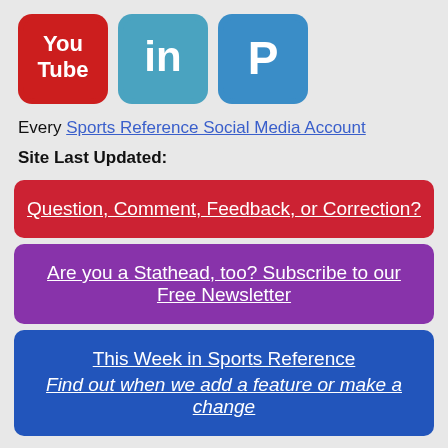[Figure (logo): Three social media icons: YouTube (red), LinkedIn (blue-green), PayPal (blue)]
Every Sports Reference Social Media Account
Site Last Updated:
Question, Comment, Feedback, or Correction?
Are you a Stathead, too? Subscribe to our Free Newsletter
This Week in Sports Reference
Find out when we add a feature or make a change
Do you have a sports website? Or write about sports? We have tools and resources that can help you use sports data. Find out more.
FAQs, Tip & Tricks